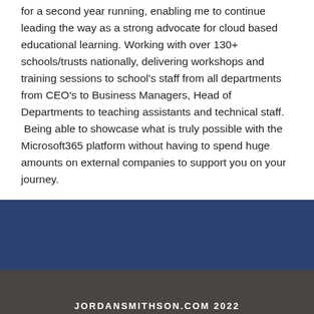for a second year running, enabling me to continue leading the way as a strong advocate for cloud based educational learning. Working with over 130+ schools/trusts nationally, delivering workshops and training sessions to school's staff from all departments from CEO's to Business Managers, Head of Departments to teaching assistants and technical staff. Being able to showcase what is truly possible with the Microsoft365 platform without having to spend huge amounts on external companies to support you on your journey.
JORDANSMITHSON.COM 2022